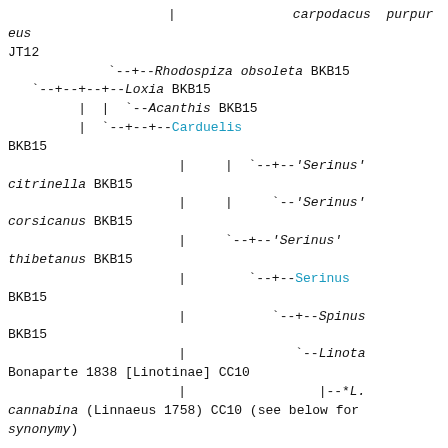| `carpodacus purpureus JT12
`--+--Rhodospiza obsoleta BKB15
   `--+--+--+--Loxia BKB15
         |  |  `--Acanthis BKB15
         |  `--+--+--Carduelis BKB15
         |     |  `--+--'Serinus' citrinella BKB15
         |     |     `--'Serinus' corsicanus BKB15
         |     `--+--'Serinus' thibetanus BKB15
         |        `--+--Serinus BKB15
         |           `--+--Spinus BKB15
         |              `--Linota Bonaparte 1838 [Linotinae] CC10
         |                 |--*L. cannabina (Linnaeus 1758) CC10 (see below for synonymy)